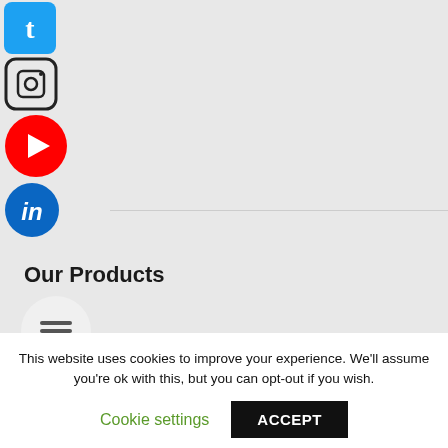[Figure (illustration): Twitter social media icon — blue rounded square with white bird logo]
[Figure (illustration): Instagram social media icon — dark outlined square with camera icon]
[Figure (illustration): YouTube social media icon — red circle with white play button]
[Figure (illustration): LinkedIn social media icon — blue circle with white 'in' text]
Our Products
[Figure (illustration): White circle with hamburger menu icon]
Browse Catalogue
Free Online Resources
Free Teachers' Resources
Get To Know Us
This website uses cookies to improve your experience. We'll assume you're ok with this, but you can opt-out if you wish.
Cookie settings
ACCEPT